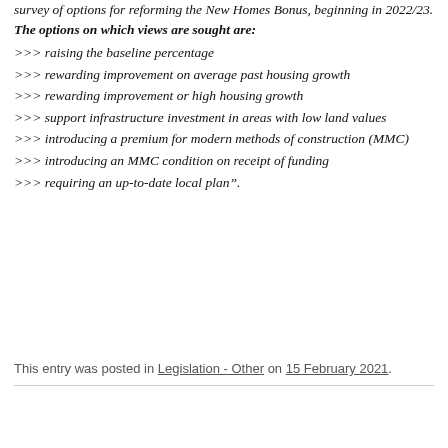survey of options for reforming the New Homes Bonus, beginning in 2022/23. The options on which views are sought are:
>>> raising the baseline percentage
>>> rewarding improvement on average past housing growth
>>> rewarding improvement or high housing growth
>>> support infrastructure investment in areas with low land values
>>> introducing a premium for modern methods of construction (MMC)
>>> introducing an MMC condition on receipt of funding
>>> requiring an up-to-date local plan".
This entry was posted in Legislation - Other on 15 February 2021.